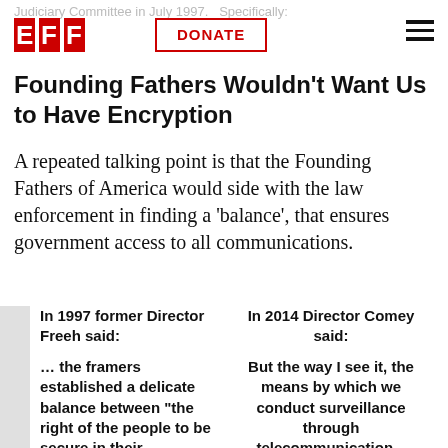Judiciary Committee in July 1997. Specifically: EFF | DONATE | menu
Founding Fathers Wouldn't Want Us to Have Encryption
A repeated talking point is that the Founding Fathers of America would side with the law enforcement in finding a 'balance', that ensures government access to all communications.
| In 1997 former Director Freeh said: | In 2014 Director Comey said: |
| --- | --- |
| … the framers established a delicate balance between "the right of the people to be secure in their... | But the way I see it, the means by which we conduct surveillance through telecommunication... |